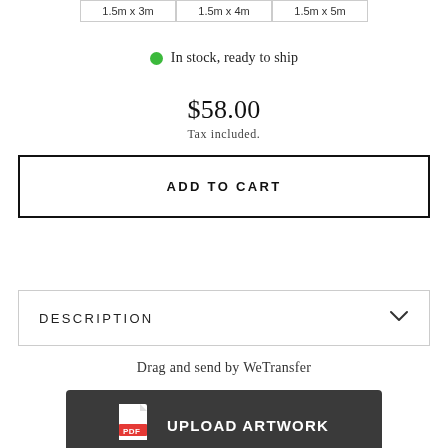1.5m x 3m | 1.5m x 4m | 1.5m x 5m
In stock, ready to ship
$58.00
Tax included.
ADD TO CART
DESCRIPTION
Drag and send by WeTransfer
UPLOAD ARTWORK